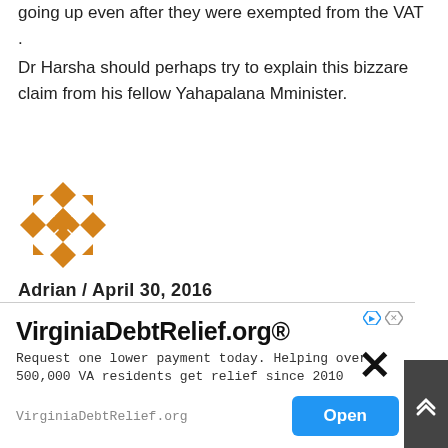going up even after they were exempted from the VAT .
Dr Harsha should perhaps try to explain this bizzare claim from his fellow Yahapalana Mminister.
[Figure (illustration): Orange decorative geometric pattern avatar icon for user Adrian]
Adrian / April 30, 2016
[Figure (infographic): Thumbs up green button with count 1, thumbs down red button with count 2]
Why the hell are all paying attention to MR when all know that he is a branded liar?
[Figure (infographic): Advertisement overlay for VirginiaDebtRelief.org® with Open button and close X]
VirginiaDebtRelief.org® Request one lower payment today. Helping over 500,000 VA residents get relief since 2010